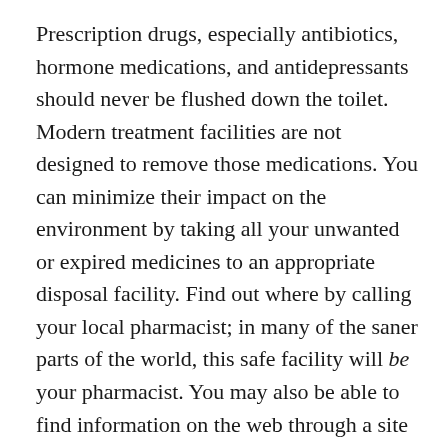Prescription drugs, especially antibiotics, hormone medications, and antidepressants should never be flushed down the toilet. Modern treatment facilities are not designed to remove those medications. You can minimize their impact on the environment by taking all your unwanted or expired medicines to an appropriate disposal facility. Find out where by calling your local pharmacist; in many of the saner parts of the world, this safe facility will be your pharmacist. You may also be able to find information on the web through a site like Safe Drug Disposal California (which I have quoted above)